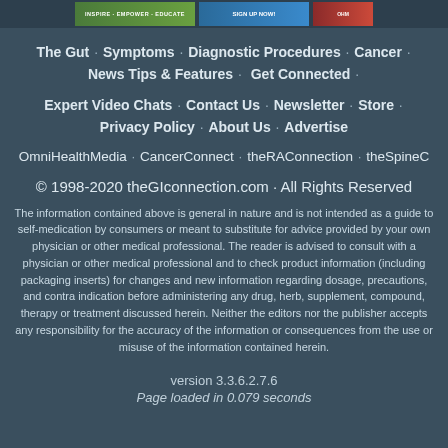[Figure (other): Top banner with three advertisement images: green 'Inspire Empower Educate' banner, blue 'Sign Up Now' banner, and a partial red/green logo]
The Gut · Symptoms · Diagnostic Procedures · Cancer · News Tips & Features · Get Connected ·
Expert Video Chats · Contact Us · Newsletter · Store · Privacy Policy · About Us · Advertise
OmniHealthMedia · CancerConnect · theRAConnection · theSpineC
© 1998-2020 theGIconnection.com · All Rights Reserved
The information contained above is general in nature and is not intended as a guide to self-medication by consumers or meant to substitute for advice provided by your own physician or other medical professional. The reader is advised to consult with a physician or other medical professional and to check product information (including packaging inserts) for changes and new information regarding dosage, precautions, and contra indication before administering any drug, herb, supplement, compound, therapy or treatment discussed herein. Neither the editors nor the publisher accepts any responsibility for the accuracy of the information or consequences from the use or misuse of the information contained herein.
version 3.3.6.2.7.6
Page loaded in 0.079 seconds